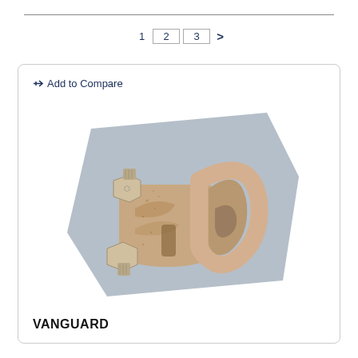1  2  3  >
Add to Compare
[Figure (photo): A wire rope cable clamp / wire rope clip in metallic/silver finish, showing a U-bolt and saddle clamp assembly with two hex nuts, photographed on a grey hexagonal background.]
VANGUARD